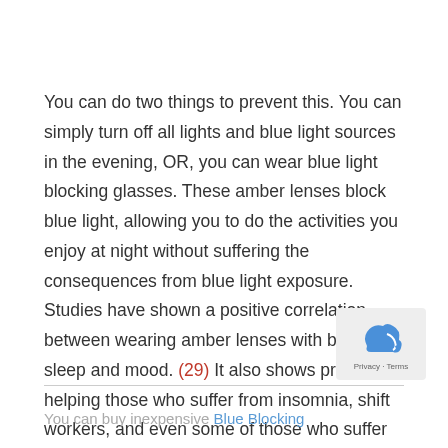You can do two things to prevent this. You can simply turn off all lights and blue light sources in the evening, OR, you can wear blue light blocking glasses. These amber lenses block blue light, allowing you to do the activities you enjoy at night without suffering the consequences from blue light exposure. Studies have shown a positive correlation between wearing amber lenses with better sleep and mood. (29) It also shows promise of helping those who suffer from insomnia, shift workers, and even some of those who suffer from bi-polar disorder. (30)
You can buy inexpensive Blue Blocking